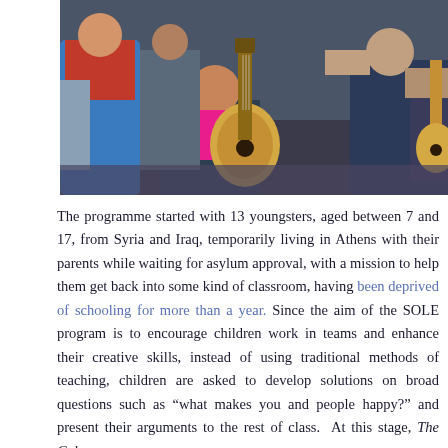[Figure (photo): Children and adults sitting in a group, one child holding an acoustic guitar. Music session or educational programme scene.]
The programme started with 13 youngsters, aged between 7 and 17, from Syria and Iraq, temporarily living in Athens with their parents while waiting for asylum approval, with a mission to help them get back into some kind of classroom, having been deprived of schooling for more than a year. Since the aim of the SOLE program is to encourage children work in teams and enhance their creative skills, instead of using traditional methods of teaching, children are asked to develop solutions on broad questions such as “what makes you and people happy?” and present their arguments to the rest of class. At this stage, The Cube